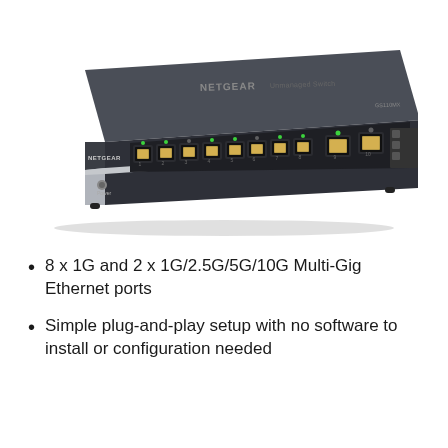[Figure (photo): NETGEAR network switch with 8 x 1G ports and 2 x Multi-Gig Ethernet ports on the front panel, dark gray/silver metal chassis, viewed from a slight angle showing the front and top.]
8 x 1G and 2 x 1G/2.5G/5G/10G Multi-Gig Ethernet ports
Simple plug-and-play setup with no software to install or configuration needed